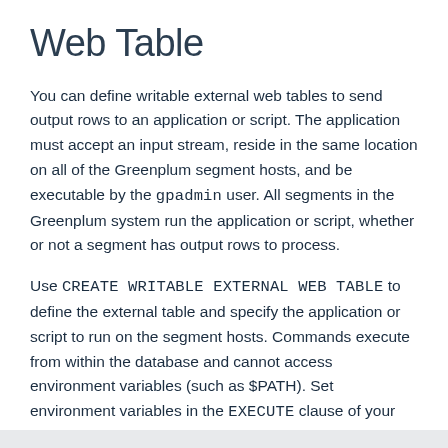Web Table
You can define writable external web tables to send output rows to an application or script. The application must accept an input stream, reside in the same location on all of the Greenplum segment hosts, and be executable by the gpadmin user. All segments in the Greenplum system run the application or script, whether or not a segment has output rows to process.
Use CREATE WRITABLE EXTERNAL WEB TABLE to define the external table and specify the application or script to run on the segment hosts. Commands execute from within the database and cannot access environment variables (such as $PATH). Set environment variables in the EXECUTE clause of your writable external table definition. For example: